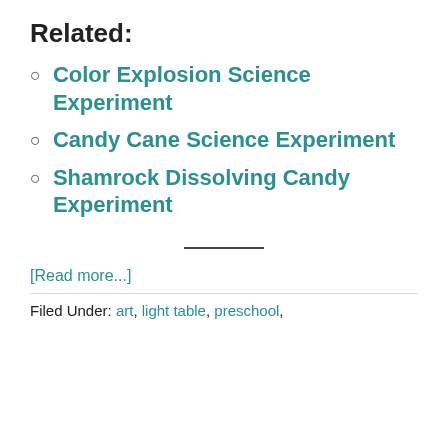Related:
Color Explosion Science Experiment
Candy Cane Science Experiment
Shamrock Dissolving Candy Experiment
[Read more...]
Filed Under: art, light table, preschool,